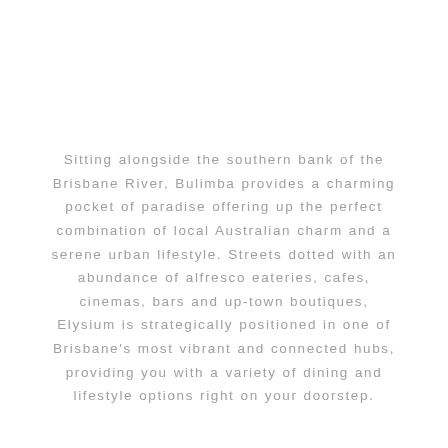Sitting alongside the southern bank of the Brisbane River, Bulimba provides a charming pocket of paradise offering up the perfect combination of local Australian charm and a serene urban lifestyle. Streets dotted with an abundance of alfresco eateries, cafes, cinemas, bars and up-town boutiques, Elysium is strategically positioned in one of Brisbane's most vibrant and connected hubs, providing you with a variety of dining and lifestyle options right on your doorstep.